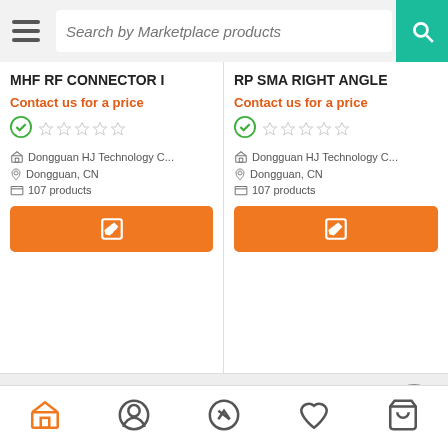Search by Marketplace products
MHF RF CONNECTOR I
Contact us for a price
Dongguan HJ Technology C...
Dongguan, CN
107 products
RP SMA RIGHT ANGLE
Contact us for a price
Dongguan HJ Technology C...
Dongguan, CN
107 products
[Figure (photo): Gold MHF RF connector product photo]
[Figure (photo): Gold RP SMA right angle connector product photo]
Navigation bar with marketplace, profile, shuffle, wishlist, and cart icons